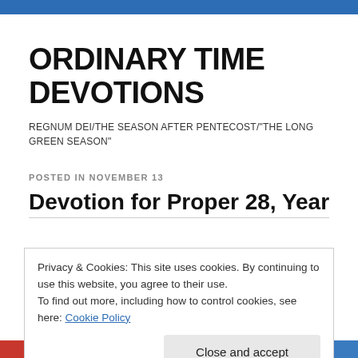ORDINARY TIME DEVOTIONS
REGNUM DEI/THE SEASON AFTER PENTECOST/"THE LONG GREEN SEASON"
POSTED IN NOVEMBER 13
Devotion for Proper 28, Year D
Privacy & Cookies: This site uses cookies. By continuing to use this website, you agree to their use.
To find out more, including how to control cookies, see here: Cookie Policy
Close and accept